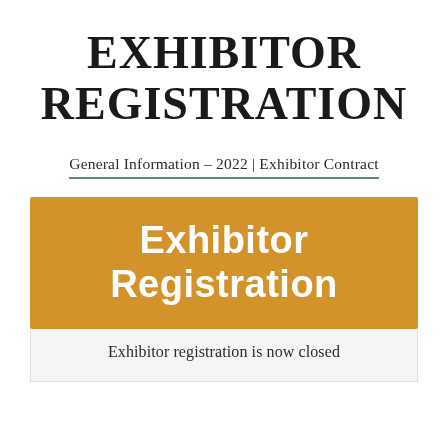EXHIBITOR REGISTRATION
General Information – 2022 | Exhibitor Contract
[Figure (infographic): Orange/amber rectangular banner with white bold text reading 'Exhibitor Registration']
Exhibitor registration is now closed